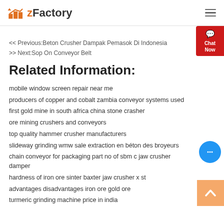zFactory
<< Previous:Beton Crusher Dampak Pemasok Di Indonesia
>> Next:Sop On Conveyor Belt
Related Information:
mobile window screen repair near me
producers of copper and cobalt zambia conveyor systems used
first gold mine in south africa china stone crasher
ore mining crushers and conveyors
top quality hammer crusher manufacturers
slideway grinding wmw sale extraction en béton des broyeurs
chain conveyor for packaging part no of sbm c jaw crusher damper
hardness of iron ore sinter baxter jaw crusher x st
advantages disadvantages iron ore gold ore
turmeric grinding machine price in india